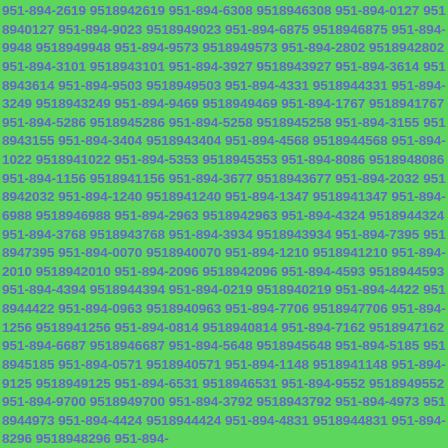951-894-2619 9518942619 951-894-6308 9518946308 951-894-0127 9518940127 951-894-9023 9518949023 951-894-6875 9518946875 951-894-9948 9518949948 951-894-9573 9518949573 951-894-2802 9518942802 951-894-3101 9518943101 951-894-3927 9518943927 951-894-3614 9518943614 951-894-9503 9518949503 951-894-4331 9518944331 951-894-3249 9518943249 951-894-9469 9518949469 951-894-1767 9518941767 951-894-5286 9518945286 951-894-5258 9518945258 951-894-3155 9518943155 951-894-3404 9518943404 951-894-4568 9518944568 951-894-1022 9518941022 951-894-5353 9518945353 951-894-8086 9518948086 951-894-1156 9518941156 951-894-3677 9518943677 951-894-2032 9518942032 951-894-1240 9518941240 951-894-1347 9518941347 951-894-6988 9518946988 951-894-2963 9518942963 951-894-4324 9518944324 951-894-3768 9518943768 951-894-3934 9518943934 951-894-7395 9518947395 951-894-0070 9518940070 951-894-1210 9518941210 951-894-2010 9518942010 951-894-2096 9518942096 951-894-4593 9518944593 951-894-4394 9518944394 951-894-0219 9518940219 951-894-4422 9518944422 951-894-0963 9518940963 951-894-7706 9518947706 951-894-1256 9518941256 951-894-0814 9518940814 951-894-7162 9518947162 951-894-6687 9518946687 951-894-5648 9518945648 951-894-5185 9518945185 951-894-0571 9518940571 951-894-1148 9518941148 951-894-9125 9518949125 951-894-6531 9518946531 951-894-9552 9518949552 951-894-9700 9518949700 951-894-3792 9518943792 951-894-4973 9518944973 951-894-4424 9518944424 951-894-4831 9518944831 951-894-8296 9518948296 951-894-